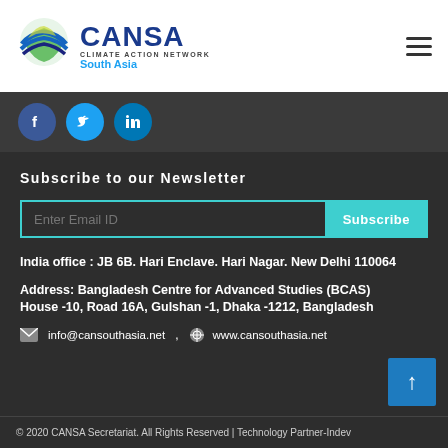[Figure (logo): CANSA - Climate Action Network South Asia logo with colorful globe graphic]
[Figure (infographic): Social media icons: Facebook, Twitter, LinkedIn circular buttons]
Subscribe to our Newsletter
Enter Email ID  Subscribe
India office : JB 6B. Hari Enclave. Hari Nagar. New Delhi 110064
Address: Bangladesh Centre for Advanced Studies (BCAS) House -10, Road 16A, Gulshan -1, Dhaka -1212, Bangladesh
info@cansouthasia.net , www.cansouthasia.net
© 2020 CANSA Secretariat. All Rights Reserved | Technology Partner-Indev